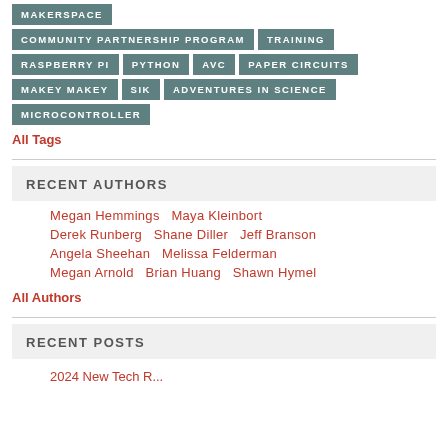MAKERSPACE
COMMUNITY PARTNERSHIP PROGRAM  TRAINING
RASPBERRY PI  PYTHON  AVC  PAPER CIRCUITS
MAKEY MAKEY  SIK  ADVENTURES IN SCIENCE
MICROCONTROLLER
All Tags
RECENT AUTHORS
Megan Hemmings  Maya Kleinbort  Derek Runberg  Shane Diller  Jeff Branson  Angela Sheehan  Melissa Felderman  Megan Arnold  Brian Huang  Shawn Hymel
All Authors
RECENT POSTS